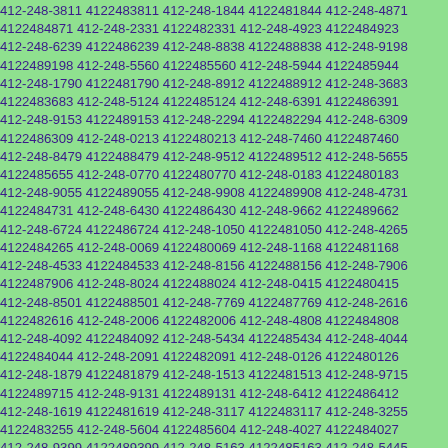412-248-3811 4122483811 412-248-1844 4122481844 412-248-4871 4122484871 412-248-2331 4122482331 412-248-4923 4122484923 412-248-6239 4122486239 412-248-8838 4122488838 412-248-9198 4122489198 412-248-5560 4122485560 412-248-5944 4122485944 412-248-1790 4122481790 412-248-8912 4122488912 412-248-3683 4122483683 412-248-5124 4122485124 412-248-6391 4122486391 412-248-9153 4122489153 412-248-2294 4122482294 412-248-6309 4122486309 412-248-0213 4122480213 412-248-7460 4122487460 412-248-8479 4122488479 412-248-9512 4122489512 412-248-5655 4122485655 412-248-0770 4122480770 412-248-0183 4122480183 412-248-9055 4122489055 412-248-9908 4122489908 412-248-4731 4122484731 412-248-6430 4122486430 412-248-9662 4122489662 412-248-6724 4122486724 412-248-1050 4122481050 412-248-4265 4122484265 412-248-0069 4122480069 412-248-1168 4122481168 412-248-4533 4122484533 412-248-8156 4122488156 412-248-7906 4122487906 412-248-8024 4122488024 412-248-0415 4122480415 412-248-8501 4122488501 412-248-7769 4122487769 412-248-2616 4122482616 412-248-2006 4122482006 412-248-4808 4122484808 412-248-4092 4122484092 412-248-5434 4122485434 412-248-4044 4122484044 412-248-2091 4122482091 412-248-0126 4122480126 412-248-1879 4122481879 412-248-1513 4122481513 412-248-9715 4122489715 412-248-9131 4122489131 412-248-6412 4122486412 412-248-1619 4122481619 412-248-3117 4122483117 412-248-3255 4122483255 412-248-5604 4122485604 412-248-4027 4122484027 412-248-9399 4122489399 412-248-5163 4122485163 412-248-5445 4122485445 412-248-1131 4122481131 412-248-2679 4122482679